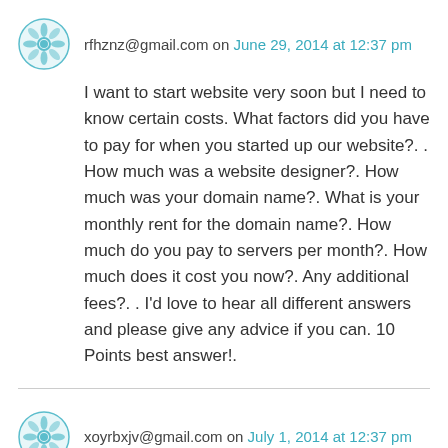rfhznz@gmail.com on June 29, 2014 at 12:37 pm
I want to start website very soon but I need to know certain costs. What factors did you have to pay for when you started up our website?. . How much was a website designer?. How much was your domain name?. What is your monthly rent for the domain name?. How much do you pay to servers per month?. How much does it cost you now?. Any additional fees?. . I’d love to hear all different answers and please give any advice if you can. 10 Points best answer!.
xoyrbxjv@gmail.com on July 1, 2014 at 12:37 pm
In Blogger’s new Template Designer there is no